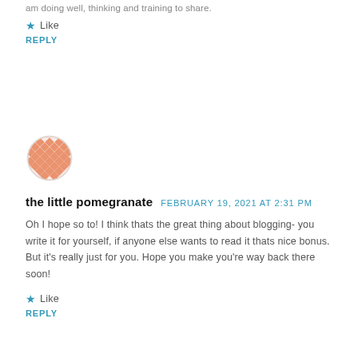am doing well, thinking and training to share.
Like
REPLY
[Figure (illustration): Circular avatar icon with orange/salmon colored diamond/checker pattern resembling a pomegranate]
the little pomegranate   FEBRUARY 19, 2021 AT 2:31 PM
Oh I hope so to! I think thats the great thing about blogging- you write it for yourself, if anyone else wants to read it thats nice bonus. But it's really just for you. Hope you make you're way back there soon!
Like
REPLY